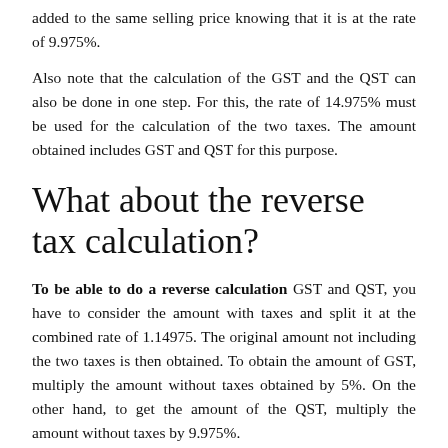added to the same selling price knowing that it is at the rate of 9.975%.
Also note that the calculation of the GST and the QST can also be done in one step. For this, the rate of 14.975% must be used for the calculation of the two taxes. The amount obtained includes GST and QST for this purpose.
What about the reverse tax calculation?
To be able to do a reverse calculation GST and QST, you have to consider the amount with taxes and split it at the combined rate of 1.14975. The original amount not including the two taxes is then obtained. To obtain the amount of GST, multiply the amount without taxes obtained by 5%. On the other hand, to get the amount of the QST, multiply the amount without taxes by 9.975%.
Note that a margin of error of $ 0.01 is accepted rounding amounts is necessary to facilitate the calc